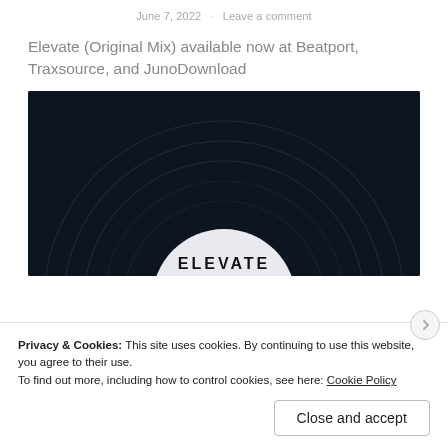June 7, 2022 · Leave a comment
Elevate (Original Mix) available now at Beatport, Traxsource, and JunoDownload
[Figure (photo): Close-up photo of a vinyl record with a white center label reading ELEVATE, against a dark background.]
Privacy & Cookies: This site uses cookies. By continuing to use this website, you agree to their use.
To find out more, including how to control cookies, see here: Cookie Policy
Close and accept